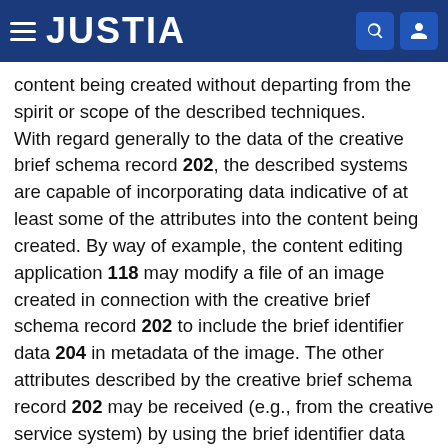JUSTIA
content being created without departing from the spirit or scope of the described techniques.
With regard generally to the data of the creative brief schema record 202, the described systems are capable of incorporating data indicative of at least some of the attributes into the content being created. By way of example, the content editing application 118 may modify a file of an image created in connection with the creative brief schema record 202 to include the brief identifier data 204 in metadata of the image. The other attributes described by the creative brief schema record 202 may be received (e.g., from the creative service system) by using the brief identifier data 204 as a reference. In addition or alternately, content items created in connection with the creative brief schema record 202 may simply include data indicative of the entire record—